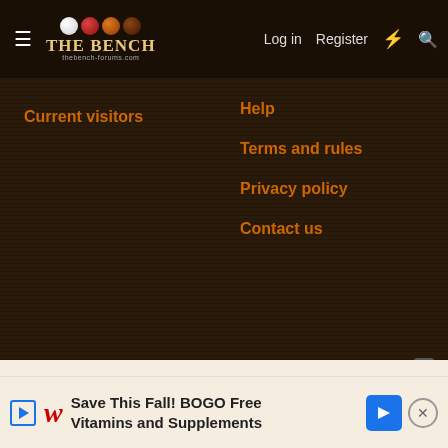THE BENCH | Log in | Register
Current visitors
Help
Terms and rules
Privacy policy
Contact us
Community platform by XenForo® © 2010-2022 XenForo Ltd. Parts of this site powered by Sports Card Club. (Details)
This site uses cookies to help personalise content, tailor your experience and to keep you logged in if you register. By continuing to use this site, you are consenting to our use of cookies.
[Figure (screenshot): Advertisement banner: Save This Fall! BOGO Free Vitamins and Supplements (Walgreens ad)]